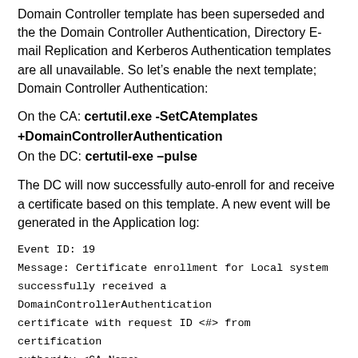Domain Controller template has been superseded and the the Domain Controller Authentication, Directory E-mail Replication and Kerberos Authentication templates are all unavailable. So let's enable the next template; Domain Controller Authentication:
On the CA: certutil.exe -SetCAtemplates +DomainControllerAuthentication
On the DC: certutil-exe –pulse
The DC will now successfully auto-enroll for and receive a certificate based on this template. A new event will be generated in the Application log:
Event ID: 19
Message: Certificate enrollment for Local system successfully received a DomainControllerAuthentication certificate with request ID <#> from certification authority <CA Name>.